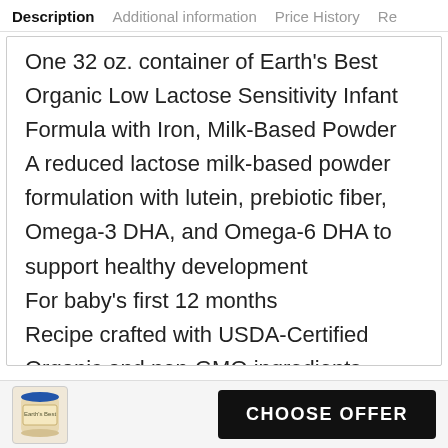Description | Additional information | Price History | Re
One 32 oz. container of Earth's Best Organic Low Lactose Sensitivity Infant Formula with Iron, Milk-Based Powder
A reduced lactose milk-based powder formulation with lutein, prebiotic fiber, Omega-3 DHA, and Omega-6 DHA to support healthy development
For baby's first 12 months
Recipe crafted with USDA-Certified Organic and non-GMO ingredients
[Figure (photo): Thumbnail image of Earth's Best infant formula can]
CHOOSE OFFER